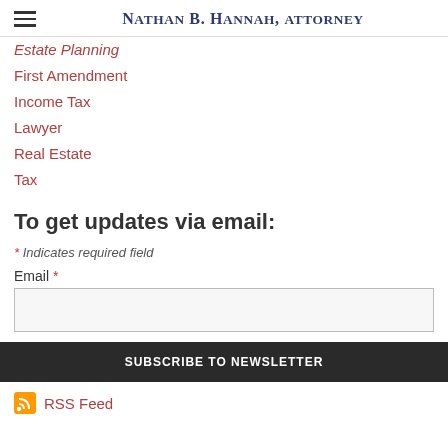Nathan B. Hannah, Attorney
Estate Planning
First Amendment
Income Tax
Lawyer
Real Estate
Tax
To get updates via email:
* Indicates required field
Email *
SUBSCRIBE TO NEWSLETTER
RSS Feed